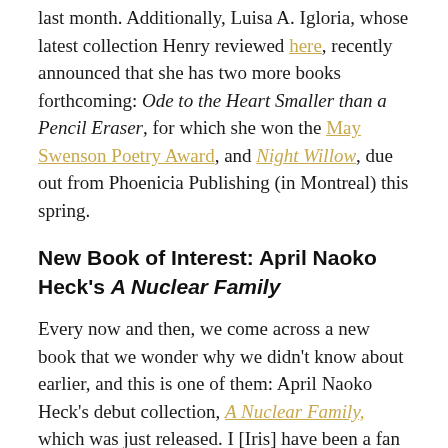last month. Additionally, Luisa A. Igloria, whose latest collection Henry reviewed here, recently announced that she has two more books forthcoming: Ode to the Heart Smaller than a Pencil Eraser, for which she won the May Swenson Poetry Award, and Night Willow, due out from Phoenicia Publishing (in Montreal) this spring.
New Book of Interest: April Naoko Heck's A Nuclear Family
Every now and then, we come across a new book that we wonder why we didn't know about earlier, and this is one of them: April Naoko Heck's debut collection, A Nuclear Family, which was just released. I [Iris] have been a fan of Heck's work for some years now, ever since I encountered some of her poems in the first issue of AALR.  She writes with clarity and surety, an ear for music, and an eye for lush visual textures, artfully